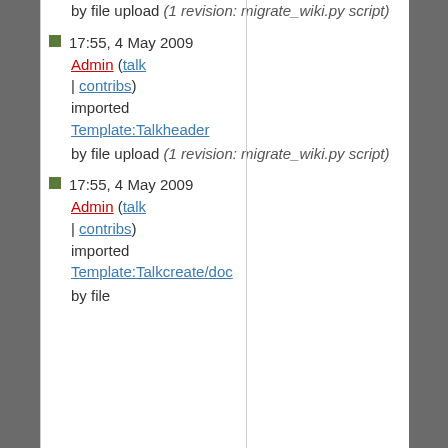by file upload (1 revision: migrate_wiki.py script)
17:55, 4 May 2009 Admin (talk | contribs) imported Template:Talkheader by file upload (1 revision: migrate_wiki.py script)
17:55, 4 May 2009 Admin (talk | contribs) imported Template:Talkcreate/doc by file upload